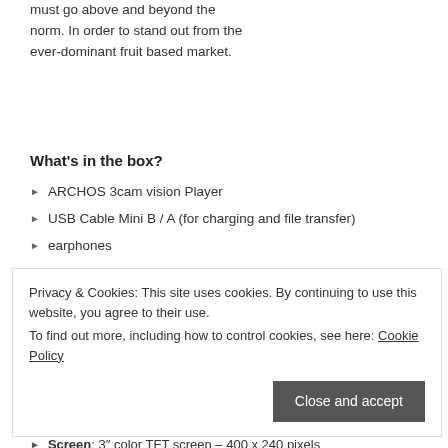must go above and beyond the norm. In order to stand out from the ever-dominant fruit based market.
What's in the box?
ARCHOS 3cam vision Player
USB Cable Mini B / A (for charging and file transfer)
earphones
user guide
Privacy & Cookies: This site uses cookies. By continuing to use this website, you agree to their use.
To find out more, including how to control cookies, see here: Cookie Policy
Close and accept
Archos 3cam Vision specification:
Internal Storage: Available in 5 GB – store up to 4,000 songs or 20 hours of video
Screen: 3″ color TFT screen – 400 x 240 pixels
Music Playback: MP3, WMA (non-protected), WAV, OGG